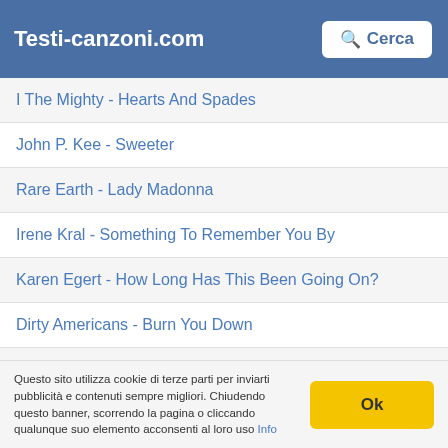Testi-canzoni.com | Cerca
I The Mighty - Hearts And Spades
John P. Kee - Sweeter
Rare Earth - Lady Madonna
Irene Kral - Something To Remember You By
Karen Egert - How Long Has This Been Going On?
Dirty Americans - Burn You Down
Kira Small - Chains
Michéle Ramo - Oh Lady Be Good
Sam J. Vaughn - In The Good Old Summertime
Questo sito utilizza cookie di terze parti per inviarti pubblicità e contenuti sempre migliori. Chiudendo questo banner, scorrendo la pagina o cliccando qualunque suo elemento acconsenti al loro uso Info
Ok